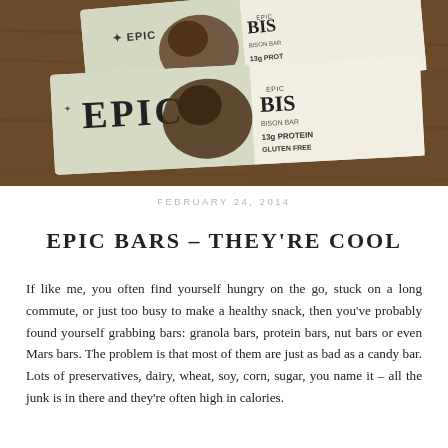[Figure (photo): Two EPIC brand protein bars lying on a wooden surface. The bars have green and white packaging with the EPIC logo and imagery of a cow. Text on packaging reads EPIC, BISON, 13g PROTEIN, GLUTEN FREE.]
FEBRUARY 24, 2014
EPIC BARS – THEY'RE COOL
If like me, you often find yourself hungry on the go, stuck on a long commute, or just too busy to make a healthy snack, then you've probably found yourself grabbing bars: granola bars, protein bars, nut bars or even Mars bars. The problem is that most of them are just as bad as a candy bar. Lots of preservatives, dairy, wheat, soy, corn, sugar, you name it – all the junk is in there and they're often high in calories.